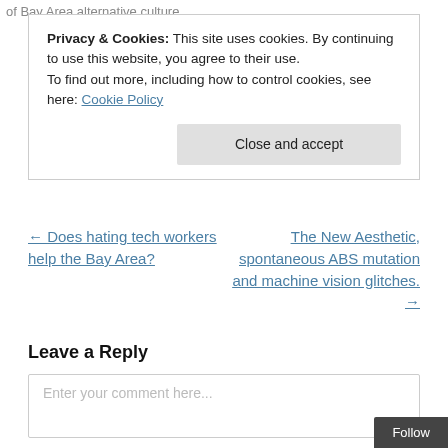of Bay Area alternative culture.
Privacy & Cookies: This site uses cookies. By continuing to use this website, you agree to their use.
To find out more, including how to control cookies, see here: Cookie Policy
Close and accept
← Does hating tech workers help the Bay Area?
The New Aesthetic, spontaneous ABS mutation and machine vision glitches. →
Leave a Reply
Enter your comment here...
Follow